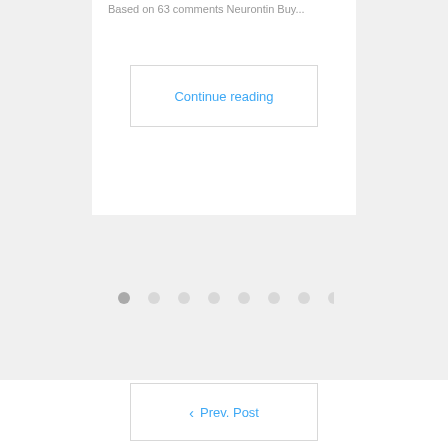Based on 63 comments Neurontin Buy...
Continue reading
[Figure (other): Pagination dots: 8 dots with the first one active/filled darker]
< Prev. Post